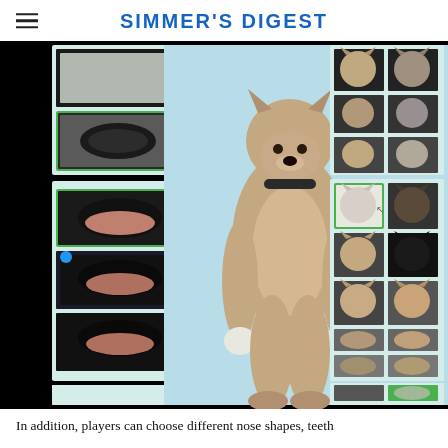SIMMER'S DIGEST
[Figure (screenshot): Screenshot from The Sims 4 werewolf customization screen showing a werewolf character in center with customization panels on left and right showing nose shapes, teeth options, and fur/face presets.]
In addition, players can choose different nose shapes, teeth